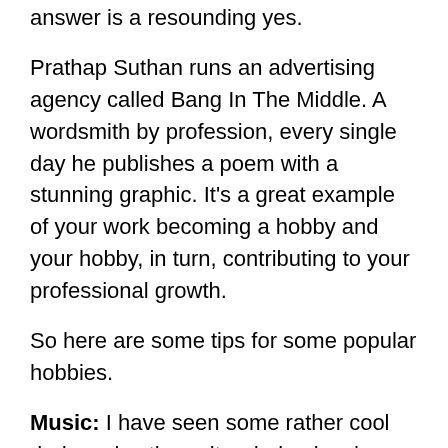answer is a resounding yes.
Prathap Suthan runs an advertising agency called Bang In The Middle. A wordsmith by profession, every single day he publishes a poem with a stunning graphic. It's a great example of your work becoming a hobby and your hobby, in turn, contributing to your professional growth.
So here are some tips for some popular hobbies.
Music: I have seen some rather cool dudes, play the guitar during lunch breaks. Some groups are great at antakshri (a type of chain singing parlour game in India) during lunch breaks. Some people should be banned from singing, but they are usually the loudest and the most fun to be with.